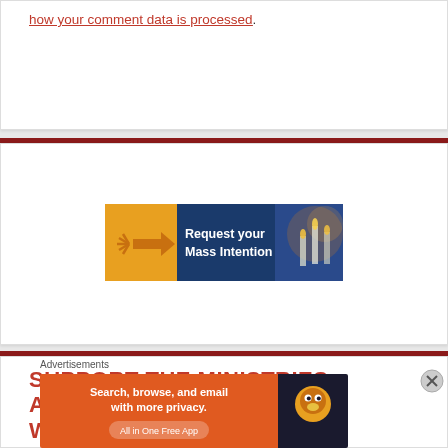how your comment data is processed.
[Figure (illustration): Request your Mass Intention banner ad with blue background, golden arrow/hand icon on left, white bold text on right]
SUPPORT THE MINISTRIES AND SERVICES OF DIVINE WORD MISSIONARIES
Advertisements
[Figure (illustration): DuckDuckGo advertisement: Search, browse, and email with more privacy. All in One Free App. Orange left panel with DuckDuckGo duck logo on dark right panel.]